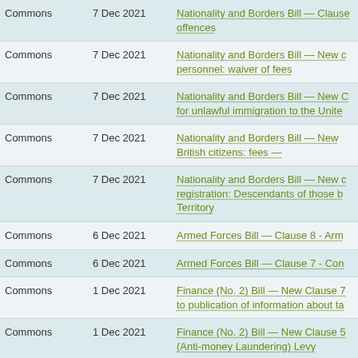| Chamber | Date | Bill/Motion |
| --- | --- | --- |
| Commons | 7 Dec 2021 | Nationality and Borders Bill — Clause offences |
| Commons | 7 Dec 2021 | Nationality and Borders Bill — New clause: personnel: waiver of fees |
| Commons | 7 Dec 2021 | Nationality and Borders Bill — New clause: for unlawful immigration to the Unite |
| Commons | 7 Dec 2021 | Nationality and Borders Bill — New clause: British citizens: fees — |
| Commons | 7 Dec 2021 | Nationality and Borders Bill — New clause: registration: Descendants of those b Territory |
| Commons | 6 Dec 2021 | Armed Forces Bill — Clause 8 - Arm |
| Commons | 6 Dec 2021 | Armed Forces Bill — Clause 7 - Con |
| Commons | 1 Dec 2021 | Finance (No. 2) Bill — New Clause 7: to publication of information about ta |
| Commons | 1 Dec 2021 | Finance (No. 2) Bill — New Clause 5: (Anti-money Laundering) Levy |
| Commons | 1 Dec 2021 | Finance (No. 2) Bill — New Clause 1: investment allowance |
| Commons | 1 Dec 2021 | Finance (No. 2) Bill — Clause 6 - Ra allowance |
| Commons | 30 Nov 2021 | Conduct of the Right Hon. Member |